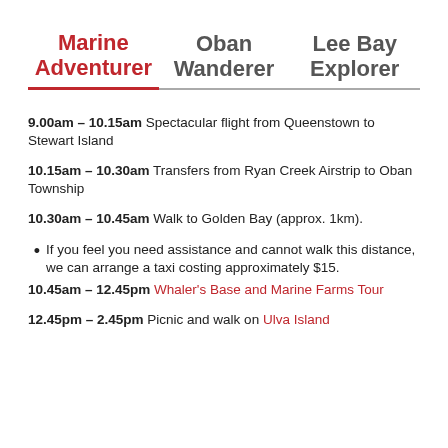Marine Adventurer | Oban Wanderer | Lee Bay Explorer
9.00am – 10.15am Spectacular flight from Queenstown to Stewart Island
10.15am – 10.30am Transfers from Ryan Creek Airstrip to Oban Township
10.30am – 10.45am Walk to Golden Bay (approx. 1km).
If you feel you need assistance and cannot walk this distance, we can arrange a taxi costing approximately $15.
10.45am – 12.45pm Whaler's Base and Marine Farms Tour
12.45pm – 2.45pm Picnic and walk on Ulva Island